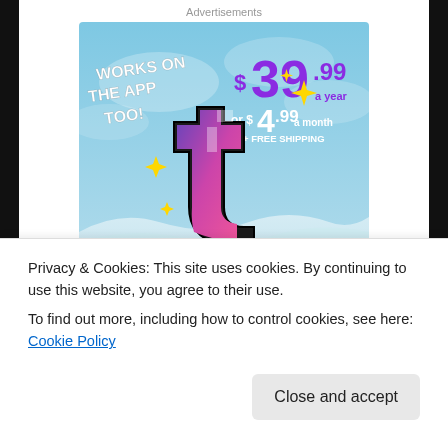Advertisements
[Figure (illustration): Tumblr Ad-Free Browsing advertisement. Sky blue background with Tumblr 't' logo with sparkles. Text: 'WORKS ON THE APP TOO!' in white. Price: $39.99 a year or $4.99 a month + FREE SHIPPING. Bottom text: TUMBLR AD-FREE BROWSING in bold black.]
REPORT THIS AD
Privacy & Cookies: This site uses cookies. By continuing to use this website, you agree to their use.
To find out more, including how to control cookies, see here: Cookie Policy
Close and accept